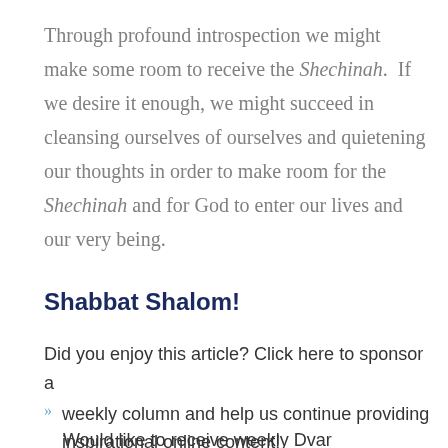Through profound introspection we might make some room to receive the Shechinah.  If we desire it enough, we might succeed in cleansing ourselves of ourselves and quietening our thoughts in order to make room for the Shechinah and for God to enter our lives and our very being.
Shabbat Shalom!
Did you enjoy this article? Click here to sponsor a
weekly column and help us continue providing inspirational online content!
Would like to receive weekly Dvar inspiration...